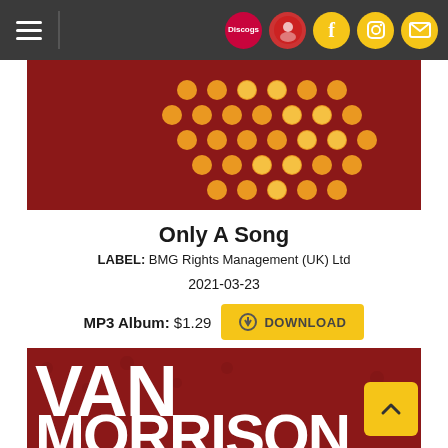Navigation bar with hamburger menu and icons (Discogs, social media, mail)
[Figure (photo): Top portion of album art showing dark red background with orange/yellow dot pattern in diamond/rhombus arrangement]
Only A Song
LABEL: BMG Rights Management (UK) Ltd
2021-03-23
MP3 Album: $1.29  DOWNLOAD
[Figure (photo): Album cover bottom portion showing dark red/maroon background with white bold text reading VAN MORRISON]